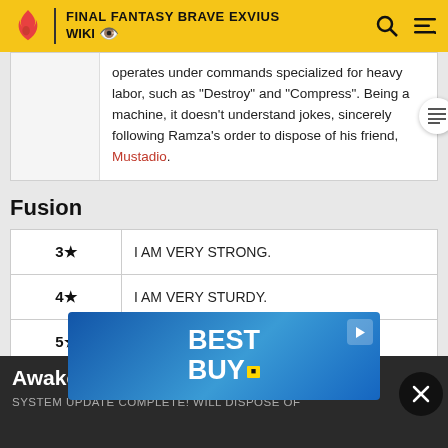FINAL FANTASY BRAVE EXVIUS WIKI
operates under commands specialized for heavy labor, such as "Destroy" and "Compress". Being a machine, it doesn't understand jokes, sincerely following Ramza's order to dispose of his friend, Mustadio.
Fusion
| Stars | Quote |
| --- | --- |
| 3★ | I AM VERY STRONG. |
| 4★ | I AM VERY STURDY. |
| 5★ | I AM VERY GOOD AT DANCING! |
Awake
SYSTEM UPDATE COMPLETE! WILL DISPOSE OF
[Figure (screenshot): Best Buy advertisement banner with blue gradient background showing 'BEST BUY.' logo in white bold text]